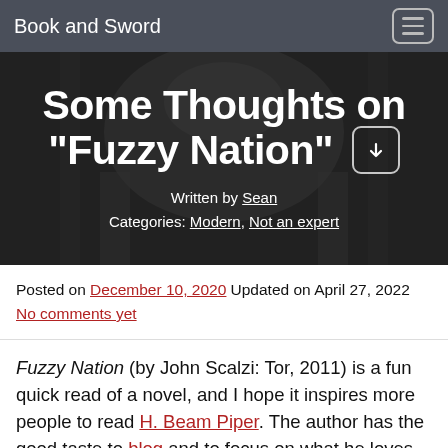Book and Sword
Some Thoughts on “Fuzzy Nation”
Written by Sean
Categories: Modern, Not an expert
Posted on December 10, 2020 Updated on April 27, 2022 No comments yet
Fuzzy Nation (by John Scalzi: Tor, 2011) is a fun quick read of a novel, and I hope it inspires more people to read H. Beam Piper. The author has the good taste to blog and to focus on what he loves about old science fiction, not on proclaiming that h